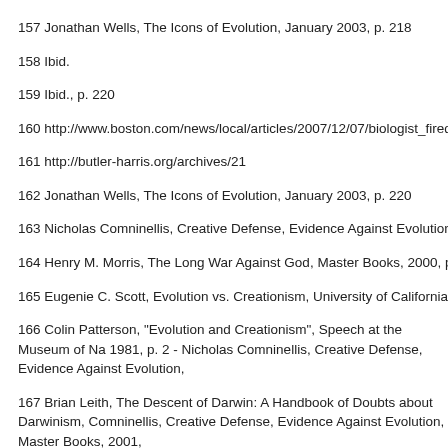157 Jonathan Wells, The Icons of Evolution, January 2003, p. 218
158 Ibid.
159 Ibid., p. 220
160 http://www.boston.com/news/local/articles/2007/12/07/biologist_fired_for_beli
161 http://butler-harris.org/archives/21
162 Jonathan Wells, The Icons of Evolution, January 2003, p. 220
163 Nicholas Comninellis, Creative Defense, Evidence Against Evolution, Master
164 Henry M. Morris, The Long War Against God, Master Books, 2000, p. 27
165 Eugenie C. Scott, Evolution vs. Creationism, University of California Press, Lo
166 Colin Patterson, "Evolution and Creationism", Speech at the Museum of Na 1981, p. 2 - Nicholas Comninellis, Creative Defense, Evidence Against Evolution,
167 Brian Leith, The Descent of Darwin: A Handbook of Doubts about Darwinism, Comninellis, Creative Defense, Evidence Against Evolution, Master Books, 2001,
168 Jeremy Rifkin, Algeny, New York, Viking Press, 1983, p. 112 - Nicholas C Evidence Against Evolution, Master Books, 2001, p. 224